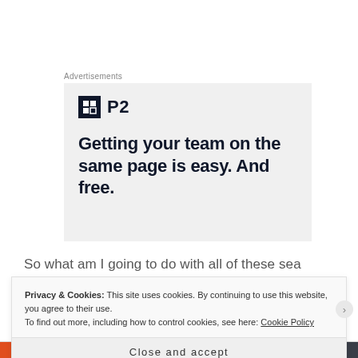Advertisements
[Figure (other): P2 advertisement banner with logo and headline: Getting your team on the same page is easy. And free.]
So what am I going to do with all of these sea urchins? What am I going to do with all the shells and sand
Privacy & Cookies: This site uses cookies. By continuing to use this website, you agree to their use.
To find out more, including how to control cookies, see here: Cookie Policy
Close and accept